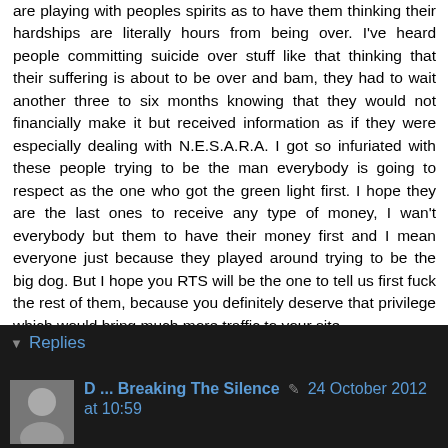are playing with peoples spirits as to have them thinking their hardships are literally hours from being over. I've heard people committing suicide over stuff like that thinking that their suffering is about to be over and bam, they had to wait another three to six months knowing that they would not financially make it but received information as if they were especially dealing with N.E.S.A.R.A. I got so infuriated with these people trying to be the man everybody is going to respect as the one who got the green light first. I hope they are the last ones to receive any type of money, I wan't everybody but them to have their money first and I mean everyone just because they played around trying to be the big dog. But I hope you RTS will be the one to tell us first fuck the rest of them, because you definitely deserve that privilege which would bring much more traffic to your site.
Reply
Replies
D ... Breaking The Silence  24 October 2012 at 10:59